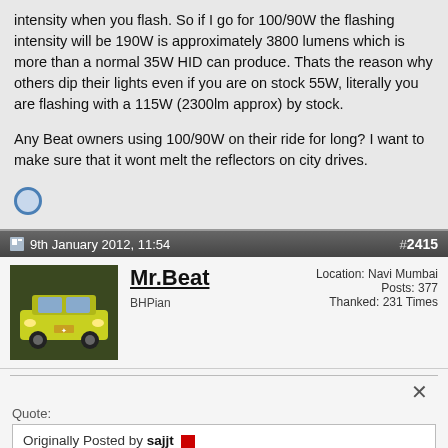intensity when you flash. So if I go for 100/90W the flashing intensity will be 190W is approximately 3800 lumens which is more than a normal 35W HID can produce. Thats the reason why others dip their lights even if you are on stock 55W, literally you are flashing with a 115W (2300lm approx) by stock.

Any Beat owners using 100/90W on their ride for long? I want to make sure that it wont melt the reflectors on city drives.
9th January 2012, 11:54  #2415
Mr.Beat
BHPian
Location: Navi Mumbai
Posts: 377
Thanked: 231 Times
Quote:
Originally Posted by sajjt
Any Beat owners using 100/90W on their ride for long? I want to make sure that it wont melt the reflectors on city drives.